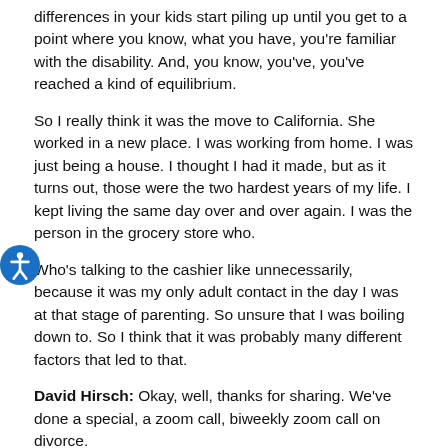differences in your kids start piling up until you get to a point where you know, what you have, you're familiar with the disability. And, you know, you've, you've reached a kind of equilibrium.
So I really think it was the move to California. She worked in a new place. I was working from home. I was just being a house. I thought I had it made, but as it turns out, those were the two hardest years of my life. I kept living the same day over and over again. I was the person in the grocery store who.
Who's talking to the cashier like unnecessarily, because it was my only adult contact in the day I was at that stage of parenting. So unsure that I was boiling down to. So I think that it was probably many different factors that led to that.
David Hirsch: Okay, well, thanks for sharing. We've done a special, a zoom call, biweekly zoom call on divorce.